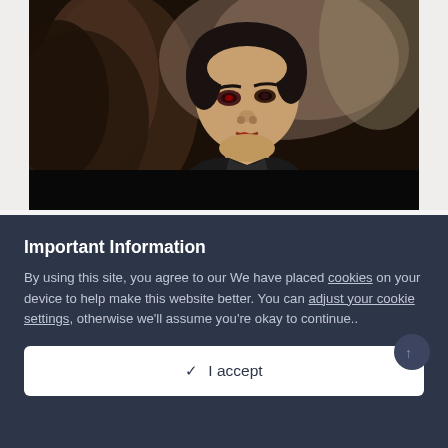[Figure (photo): Screenshot of a video player showing a Korean drama scene. A man with dark hair wearing a black jacket looks intensely at someone off camera. He appears to have reddish eyes and blood on his lip. The bottom portion of the video frame is a black bar (letterboxing).]
Important Information
By using this site, you agree to our We have placed cookies on your device to help make this website better. You can adjust your cookie settings, otherwise we'll assume you're okay to continue..
✓  I accept